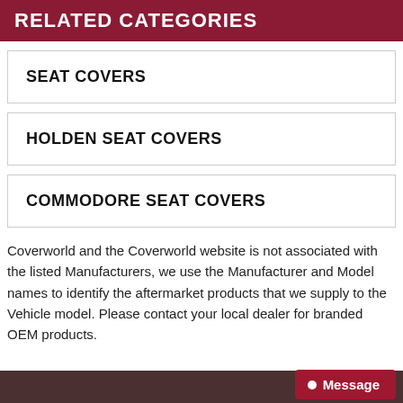RELATED CATEGORIES
SEAT COVERS
HOLDEN SEAT COVERS
COMMODORE SEAT COVERS
Coverworld and the Coverworld website is not associated with the listed Manufacturers, we use the Manufacturer and Model names to identify the aftermarket products that we supply to the Vehicle model. Please contact your local dealer for branded OEM products.
Message